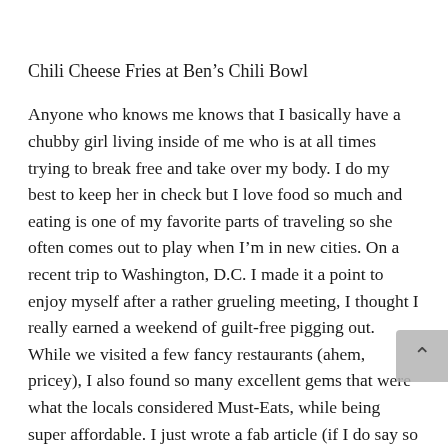Chili Cheese Fries at Ben’s Chili Bowl
Anyone who knows me knows that I basically have a chubby girl living inside of me who is at all times trying to break free and take over my body. I do my best to keep her in check but I love food so much and eating is one of my favorite parts of traveling so she often comes out to play when I’m in new cities. On a recent trip to Washington, D.C. I made it a point to enjoy myself after a rather grueling meeting, I thought I really earned a weekend of guilt-free pigging out. While we visited a few fancy restaurants (ahem, pricey), I also found so many excellent gems that were what the locals considered Must-Eats, while being super affordable. I just wrote a fab article (if I do say so myself) over at Cheap-O Air’s blog about the five best restaurants in DC that are actually affordable. Check it out!